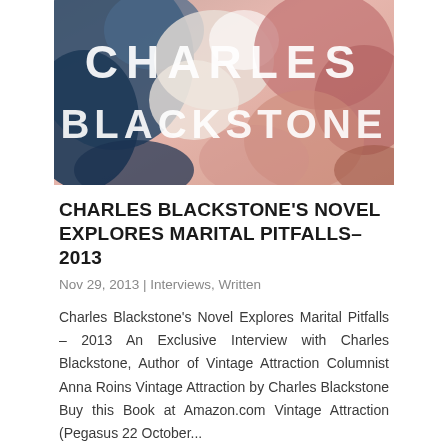[Figure (illustration): Book cover image for a Charles Blackstone book, showing abstract colorful shapes in blue, pink, and salmon tones with large white text reading 'CHARLES' on top and 'BLACKSTONE' below, overlaid on abstract artwork.]
CHARLES BLACKSTONE'S NOVEL EXPLORES MARITAL PITFALLS–2013
Nov 29, 2013 | Interviews, Written
Charles Blackstone's Novel Explores Marital Pitfalls – 2013 An Exclusive Interview with Charles Blackstone, Author of Vintage Attraction Columnist Anna Roins Vintage Attraction by Charles Blackstone Buy this Book at Amazon.com Vintage Attraction (Pegasus 22 October...